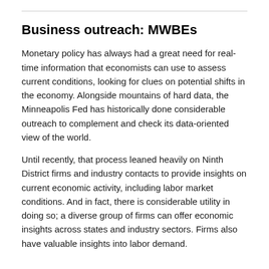Business outreach: MWBEs
Monetary policy has always had a great need for real-time information that economists can use to assess current conditions, looking for clues on potential shifts in the economy. Alongside mountains of hard data, the Minneapolis Fed has historically done considerable outreach to complement and check its data-oriented view of the world.
Until recently, that process leaned heavily on Ninth District firms and industry contacts to provide insights on current economic activity, including labor market conditions. And in fact, there is considerable utility in doing so; a diverse group of firms can offer economic insights across states and industry sectors. Firms also have valuable insights into labor demand.